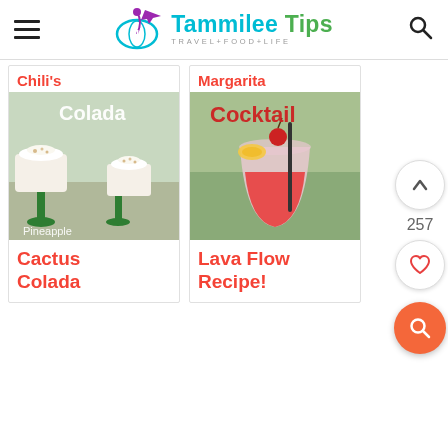Tammilee Tips — TRAVEL+FOOD+LIFE
Chili's
[Figure (photo): Two glasses of pineapple colada drinks with whipped cream and cinnamon on green stems, with text overlay 'Colada' and 'Pineapple']
Cactus Colada
Margarita
[Figure (photo): A red frozen cocktail in a glass garnished with a cherry and pineapple slice, with text overlay 'Cocktail']
Lava Flow Recipe!